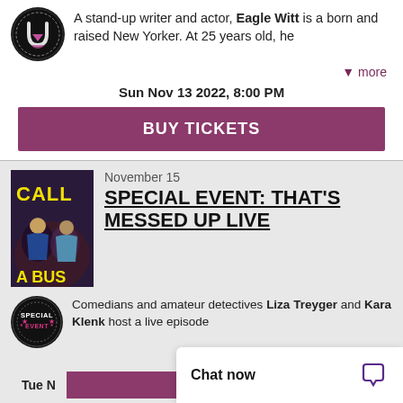A stand-up writer and actor, Eagle Witt is a born and raised New Yorker. At 25 years old, he
▾ more
Sun Nov 13 2022, 8:00 PM
BUY TICKETS
November 15
SPECIAL EVENT: THAT'S MESSED UP LIVE
Comedians and amateur detectives Liza Treyger and Kara Klenk host a live episode
▾ more
Tue N
Chat now